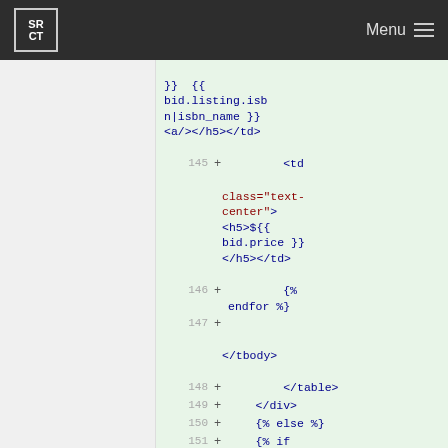SRCT  Menu
}}  {{
bid.listing.isbn|isbn_name }}
<a/></h5></td>
145 + <td class="text-center">
<h5>${{ bid.price }}</h5></td>
146 + {% endfor %}
147 + 
</tbody>
148 + </table>
149 + </div>
150 + {% else %}
151 + {% if student.user ==
request.user %}